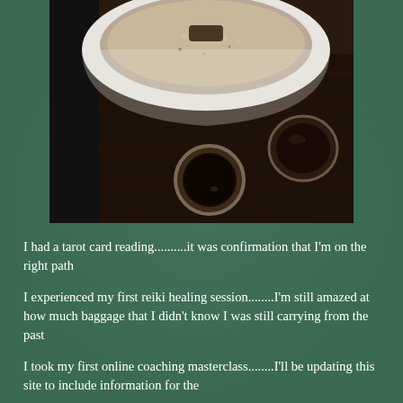[Figure (photo): Overhead/top-down photo of a white bowl containing food (likely a soup or grain dish with mushrooms/toppings), placed on a dark wooden table. A small cup of dark liquid (soy sauce or tea) and a small glass vessel are also visible on the table.]
I had a tarot card reading..........it was confirmation that I'm on the right path
I experienced my first reiki healing session........I'm still amazed at how much baggage that I didn't know I was still carrying from the past
I took my first online coaching masterclass........I'll be updating this site to include information for the